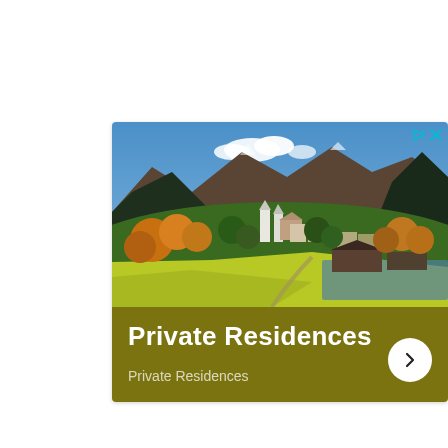[Figure (photo): Advertisement banner showing an aerial/elevated view of an Alpine town (Private Residences) with mountains, blue sky, autumn trees in orange and yellow, green meadows, a white church with towers, buildings, and a riverside area. Below the photo is a dark golden/olive banner with white bold text 'Private Residences', smaller subtitle 'Private Residences', and a white circular arrow button on the right. Top-right corner has ad icons (triangle/play icon and X close button in cyan/teal).]